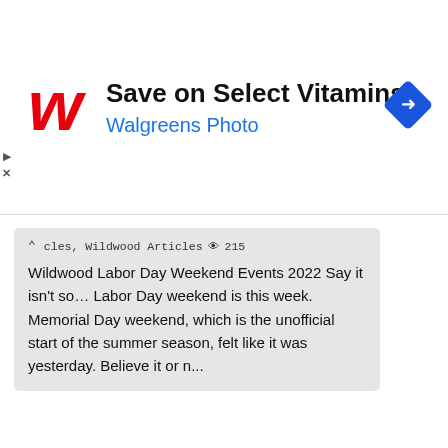[Figure (screenshot): Walgreens advertisement banner. Red cursive Walgreens 'W' logo on left, bold text 'Save on Select Vitamins' in black, blue text 'Walgreens Photo' below. Blue diamond navigation icon with right arrow on far right. Play and X controls on far left edge.]
cles, Wildwood Articles 👁 215
Wildwood Labor Day Weekend Events 2022 Say it isn't so… Labor Day weekend is this week. Memorial Day weekend, which is the unofficial start of the summer season, felt like it was yesterday. Believe it or n...
[Figure (photo): Photo of group of people in blue t-shirts on a boat on water, holding a flag with a crab logo and text 'CONTINO CRABBING'. Large crab statue/sculpture visible on right side. Text visible: 'RABBING' and '41' overlaid on image. Appears to be related to a 2022 crabbing event.]